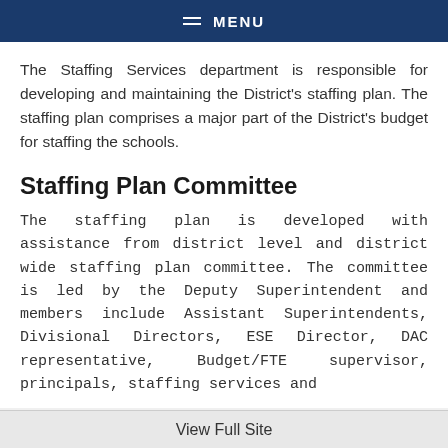MENU
The Staffing Services department is responsible for developing and maintaining the District's staffing plan.  The staffing plan comprises a major part of the District's budget for staffing the schools.
Staffing Plan Committee
The staffing plan is developed with assistance from district level and district wide staffing plan committee.  The committee is led by the Deputy Superintendent and members include Assistant Superintendents, Divisional Directors, ESE Director, DAC representative, Budget/FTE supervisor, principals, staffing services and
View Full Site